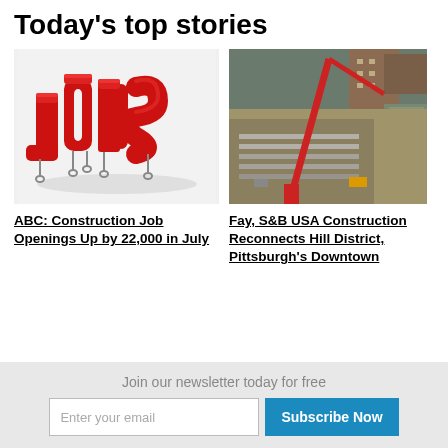Today's top stories
[Figure (photo): 3D red block letters spelling JOBS on white background with chain supports]
[Figure (photo): Aerial view of construction site with red crane, urban buildings, Pittsburgh Hill District]
ABC: Construction Job Openings Up by 22,000 in July
Fay, S&B USA Construction Reconnects Hill District, Pittsburgh's Downtown
Join our newsletter today for free